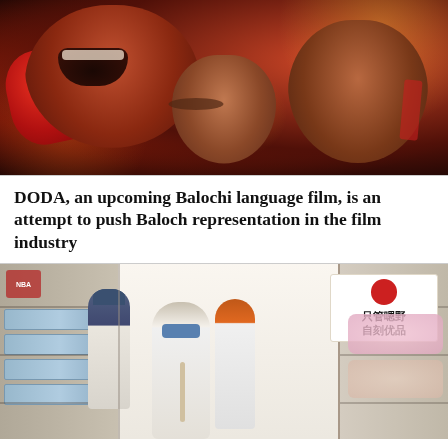[Figure (photo): Movie poster for DODA, a Balochi language film, showing two dramatic figures — a large aggressive figure and a smaller calm figure — against a dark, spark-filled background with red tones and boxing gloves]
DODA, an upcoming Balochi language film, is an attempt to push Baloch representation in the film industry
[Figure (photo): Interior of a retail store resembling a variety/dollar store with Chinese signage. Shoppers browse long aisles flanked by tall shelves stocked with products. A person wearing a face mask and carrying a bag is visible in the center aisle. A red circular sign with Chinese text is visible in the upper right.]